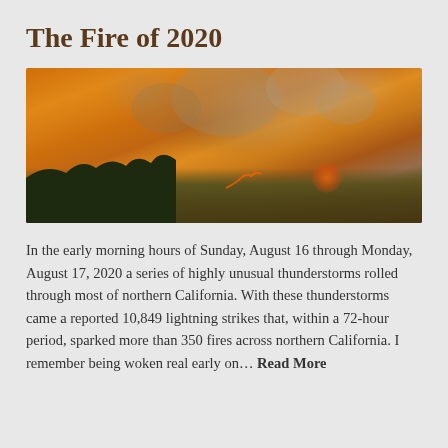The Fire of 2020
[Figure (photo): Wildfire with large smoke plumes rising over a hillside, orange and brown smoky sky, dark silhouetted terrain in foreground with fire visible on the slope]
In the early morning hours of Sunday, August 16 through Monday, August 17, 2020 a series of highly unusual thunderstorms rolled through most of northern California. With these thunderstorms came a reported 10,849 lightning strikes that, within a 72-hour period, sparked more than 350 fires across northern California. I remember being woken real early on… Read More